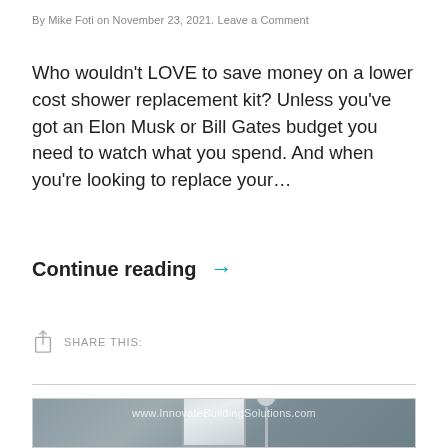By Mike Foti on November 23, 2021. Leave a Comment
Who wouldn’t LOVE to save money on a lower cost shower replacement kit? Unless you’ve got an Elon Musk or Bill Gates budget you need to watch what you spend. And when you’re looking to replace your…
Continue reading →
SHARE THIS:
[Figure (photo): Bathroom interior photo showing a mirror and shower fixture against a grey wall, with www.InnovateBuildingSolutions.com watermark]